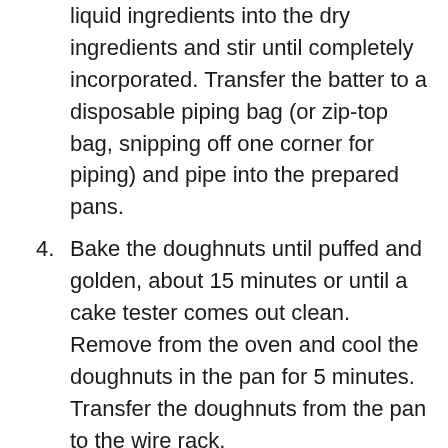liquid ingredients into the dry ingredients and stir until completely incorporated. Transfer the batter to a disposable piping bag (or zip-top bag, snipping off one corner for piping) and pipe into the prepared pans.
4. Bake the doughnuts until puffed and golden, about 15 minutes or until a cake tester comes out clean. Remove from the oven and cool the doughnuts in the pan for 5 minutes. Transfer the doughnuts from the pan to the wire rack.
For the lemon glaze:
1 cup powdered sugar
Zest of half a lemon
1–2 tbsp lemon juice (about half a lemon)